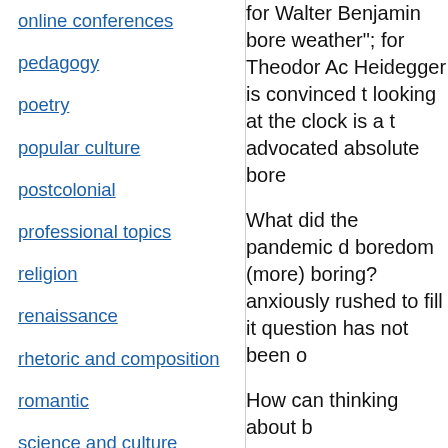online conferences
pedagogy
poetry
popular culture
postcolonial
professional topics
religion
renaissance
rhetoric and composition
romantic
science and culture
theatre
theory
translation studies
for Walter Benjamin bore weather"; for Theodor Ac Heidegger is convinced t looking at the clock is a t advocated absolute bore
What did the pandemic d boredom (more) boring? anxiously rushed to fill it question has not been o
How can thinking about b
Guest editor Busra Copu all things that are boring The boredom cluster inv about) about boredom in perspectives and in a mu proposals for conversatio